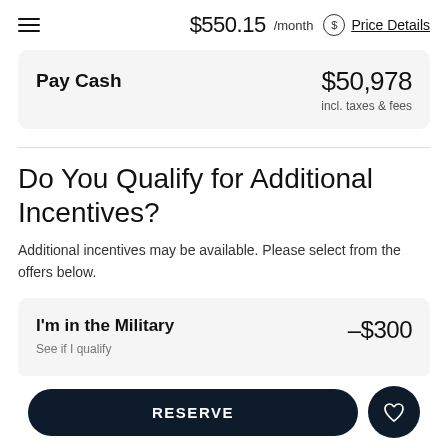$550.15 /month  Price Details
| Pay Cash | Amount |
| --- | --- |
| Pay Cash | $50,978
incl. taxes & fees |
Do You Qualify for Additional Incentives?
Additional incentives may be available. Please select from the offers below.
| Incentive | Amount |
| --- | --- |
| I'm in the Military | –$300 |
RESERVE